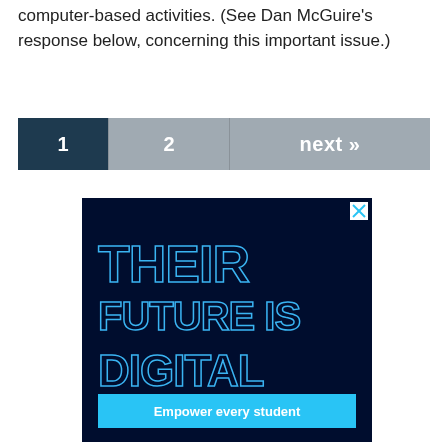computer-based activities. (See Dan McGuire's response below, concerning this important issue.)
[Figure (other): Pagination bar with page 1 (dark navy, selected), page 2 (grey), and next >> (grey)]
[Figure (illustration): Advertisement with dark navy background showing outline text 'THEIR FUTURE IS DIGITAL' in cyan outlines and a cyan button reading 'Empower every student']